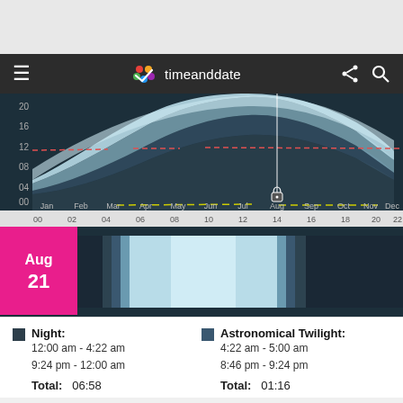[Figure (screenshot): timeanddate.com website header navigation bar with hamburger menu, timeanddate logo, share and search icons]
[Figure (area-chart): Annual daylight/night chart showing hours of daylight through the year from Jan to Dec, with months on x-axis and hours 00-20 on y-axis. A vertical white line marks Aug. Red dashed line near hour 12, yellow dashed line near hour 00.]
[Figure (bar-chart): Daily timeline for Aug 21 showing night, twilight, and daylight periods from 00 to 22 hours. Aug 21 label shown in pink/magenta box on left.]
Night:
12:00 am - 4:22 am
9:24 pm - 12:00 am
Astronomical Twilight:
4:22 am - 5:00 am
8:46 pm - 9:24 pm
Total:   06:58
Total:   01:16